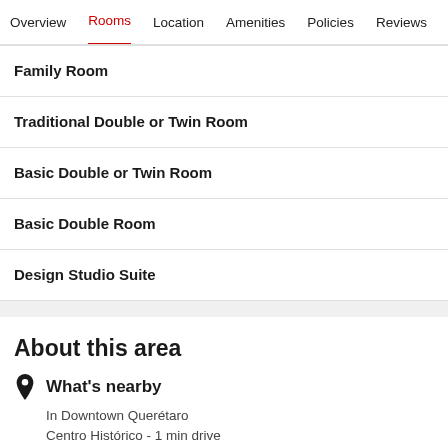Overview  Rooms  Location  Amenities  Policies  Reviews
Family Room
Traditional Double or Twin Room
Basic Double or Twin Room
Basic Double Room
Design Studio Suite
About this area
What's nearby
In Downtown Querétaro
Centro Histórico - 1 min drive